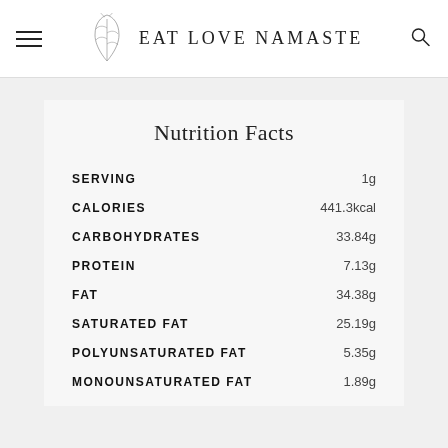EAT LOVE NAMASTE
Nutrition Facts
|  |  |
| --- | --- |
| SERVING | 1g |
| CALORIES | 441.3kcal |
| CARBOHYDRATES | 33.84g |
| PROTEIN | 7.13g |
| FAT | 34.38g |
| SATURATED FAT | 25.19g |
| POLYUNSATURATED FAT | 5.35g |
| MONOUNSATURATED FAT | 1.89g |